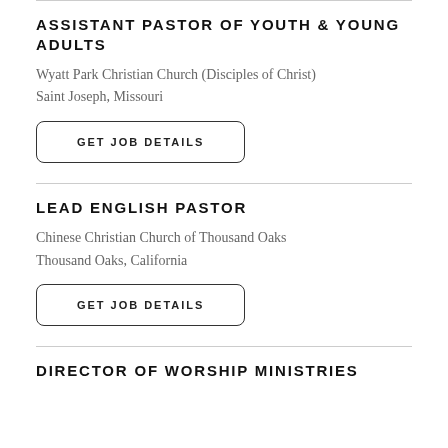ASSISTANT PASTOR OF YOUTH & YOUNG ADULTS
Wyatt Park Christian Church (Disciples of Christ)
Saint Joseph, Missouri
GET JOB DETAILS
LEAD ENGLISH PASTOR
Chinese Christian Church of Thousand Oaks
Thousand Oaks, California
GET JOB DETAILS
DIRECTOR OF WORSHIP MINISTRIES